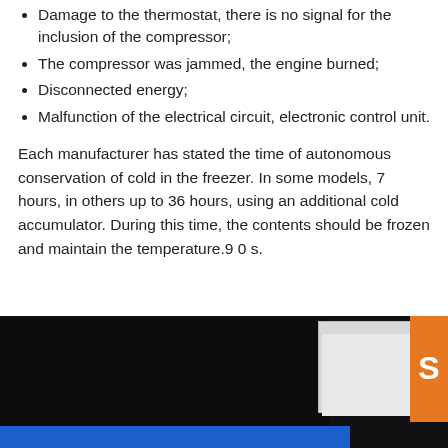Damage to the thermostat, there is no signal for the inclusion of the compressor;
The compressor was jammed, the engine burned;
Disconnected energy;
Malfunction of the electrical circuit, electronic control unit.
Each manufacturer has stated the time of autonomous conservation of cold in the freezer. In some models, 7 hours, in others up to 36 hours, using an additional cold accumulator. During this time, the contents should be frozen and maintain the temperature.9 0 s.
[Figure (photo): Dark image showing what appears to be a dimly lit room or appliance on the left and folded white towels or items on the right, with an orange box containing the letter S, and a blue bar at the bottom.]